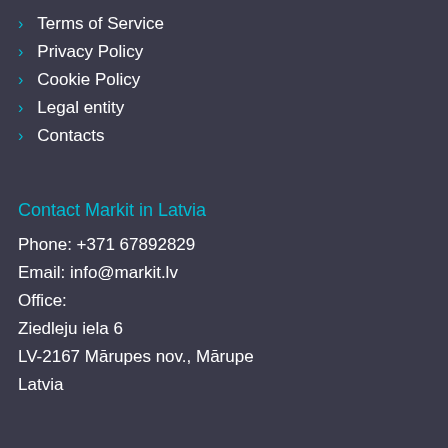Terms of Service
Privacy Policy
Cookie Policy
Legal entity
Contacts
Contact Markit in Latvia
Phone: +371 67892829
Email: info@markit.lv
Office:
Ziedleju iela 6
LV-2167 Mārupes nov., Mārupe
Latvia
Discover Markit
The Big Idea
System Features
User Stories
Pricing
Blog